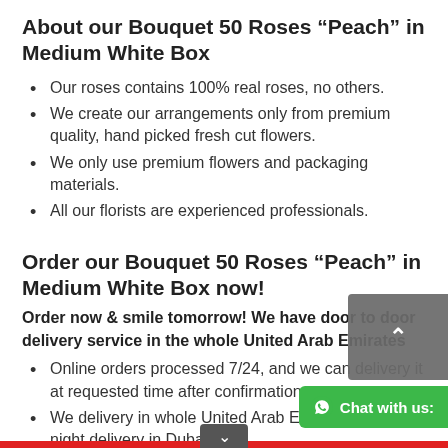About our Bouquet 50 Roses “Peach” in Medium White Box
Our roses contains 100% real roses, no others.
We create our arrangements only from premium quality, hand picked fresh cut flowers.
We only use premium flowers and packaging materials.
All our florists are experienced professionals.
Order our Bouquet 50 Roses “Peach” in Medium White Box now!
Order now & smile tomorrow! We have door to door delivery service in the whole United Arab Emirates
Online orders processed 7/24, and we can delivery it at requested time after confirmations.
We delivery in whole United Arab Emirates, including night delivery in Dubai.
You can select delivery time and dest…